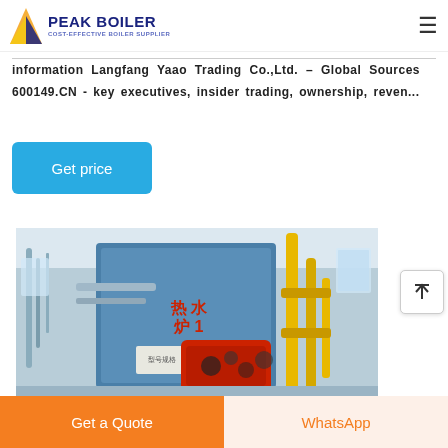PEAK BOILER COST-EFFECTIVE BOILER SUPPLIER
information Langfang Yaao Trading Co.,Ltd. - Global Sources
600149.CN - key executives, insider trading, ownership, reven...
Get price
[Figure (photo): Industrial boiler room with large blue boiler unit, red burner, yellow gas pipes, and metal piping visible in the background]
Get a Quote | WhatsApp